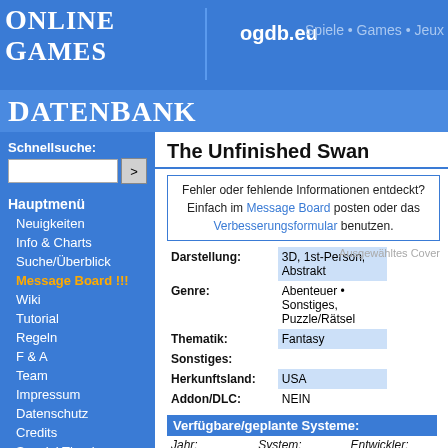Online Games DatenBank — ogdb.eu — Spiele • Games • Jeux
Schnellsuche:
Hauptmenü
Neuigkeiten
Info & Charts
Suche/Überblick
Message Board !!!
Wiki
Tutorial
Regeln
F & A
Team
Impressum
Datenschutz
Credits
Special Thanks
Einloggen
The Unfinished Swan
Fehler oder fehlende Informationen entdeckt? Einfach im Message Board posten oder das Verbesserungsformular benutzen.
| Field | Value |
| --- | --- |
| Darstellung: | 3D, 1st-Person, Abstrakt |
| Genre: | Abenteuer • Sonstiges, Puzzle/Rätsel |
| Thematik: | Fantasy |
| Sonstiges: |  |
| Herkunftsland: | USA |
| Addon/DLC: | NEIN |
Ausgewähltes Cover
Verfügbare/geplante Systeme:
| Jahr: | System: | Entwickler: |
| --- | --- | --- |
|  |  | * Giant Sparrow
* Santa Monica Studio/... |